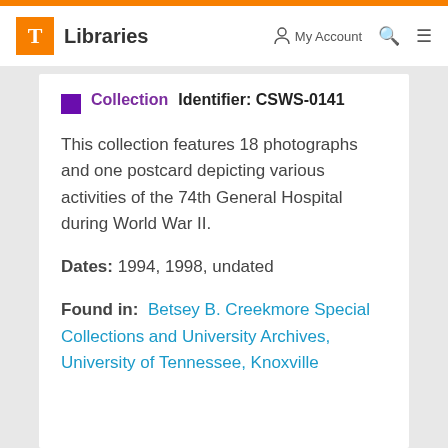T Libraries | My Account | Search | Menu
Collection | Identifier: CSWS-0141
This collection features 18 photographs and one postcard depicting various activities of the 74th General Hospital during World War II.
Dates: 1994, 1998, undated
Found in: Betsey B. Creekmore Special Collections and University Archives, University of Tennessee, Knoxville